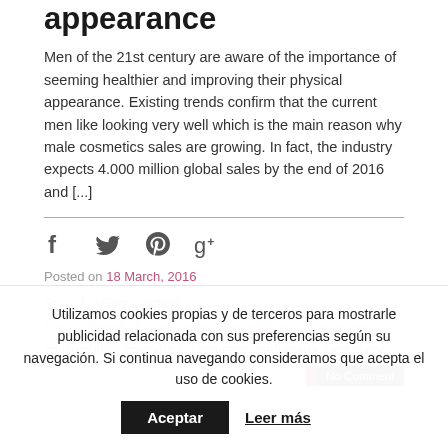appearance
Men of the 21st century are aware of the importance of seeming healthier and improving their physical appearance. Existing trends confirm that the current men like looking very well which is the main reason why male cosmetics sales are growing. In fact, the industry expects 4.000 million global sales by the end of 2016 and [...]
Posted on 18 March, 2016
Posted in Consumption
Tagged beauty, belleza, consumer, consumidor, consumo, consumption, cosmética, cosmetics, perfumeria, perfumery
No Comment
Utilizamos cookies propias y de terceros para mostrarle publicidad relacionada con sus preferencias según su navegación. Si continua navegando consideramos que acepta el uso de cookies.